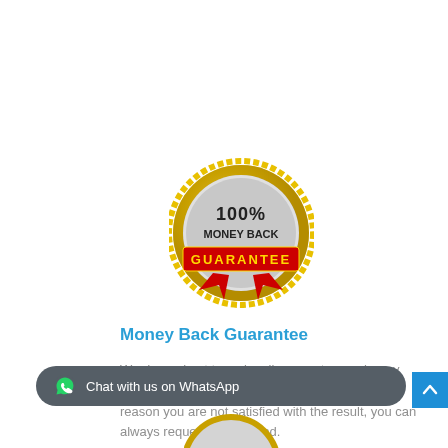[Figure (illustration): 100% Money Back Guarantee badge - gold seal with red ribbon]
Money Back Guarantee
We do our best to make all our customers happy with the papers we provide. However, if for some reason you are not satisfied with the result, you can always request for a refund.
[Figure (other): WhatsApp chat button widget at the bottom of the page]
[Figure (other): Scroll to top blue arrow button at bottom right]
[Figure (illustration): Partial second guarantee badge at bottom center]